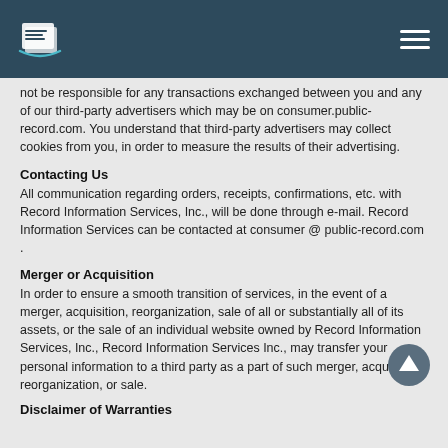consumer.public-record.com header navigation
not be responsible for any transactions exchanged between you and any of our third-party advertisers which may be on consumer.public-record.com. You understand that third-party advertisers may collect cookies from you, in order to measure the results of their advertising.
Contacting Us
All communication regarding orders, receipts, confirmations, etc. with Record Information Services, Inc., will be done through e-mail. Record Information Services can be contacted at consumer @ public-record.com .
Merger or Acquisition
In order to ensure a smooth transition of services, in the event of a merger, acquisition, reorganization, sale of all or substantially all of its assets, or the sale of an individual website owned by Record Information Services, Inc., Record Information Services Inc., may transfer your personal information to a third party as a part of such merger, acquisition, reorganization, or sale.
Disclaimer of Warranties